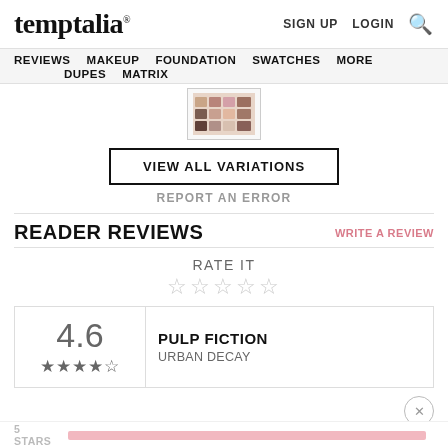temptalia® — SIGN UP  LOGIN  🔍
REVIEWS  MAKEUP  FOUNDATION  SWATCHES  MORE  DUPES  MATRIX
[Figure (photo): Partial product palette thumbnail image]
VIEW ALL VARIATIONS
REPORT AN ERROR
READER REVIEWS
WRITE A REVIEW
RATE IT
☆☆☆☆☆
| Rating | Product | Brand |
| --- | --- | --- |
| 4.6 ★★★★☆ | PULP FICTION | URBAN DECAY |
5 STARS